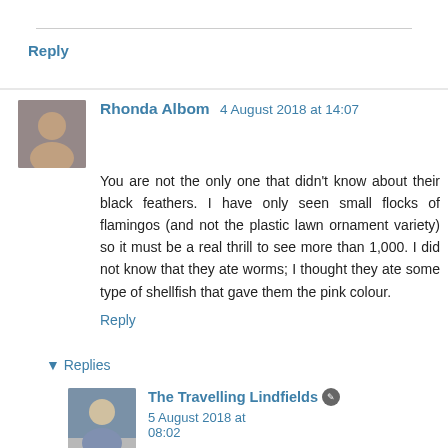Reply
Rhonda Albom  4 August 2018 at 14:07
You are not the only one that didn't know about their black feathers. I have only seen small flocks of flamingos (and not the plastic lawn ornament variety) so it must be a real thrill to see more than 1,000. I did not know that they ate worms; I thought they ate some type of shellfish that gave them the pink colour.
Reply
Replies
The Travelling Lindfields  5 August 2018 at 08:02
The black feathers are gorgeous. They contrast with the pink to make flamingos in flight a sight to behold. Like you I had only ever seen small